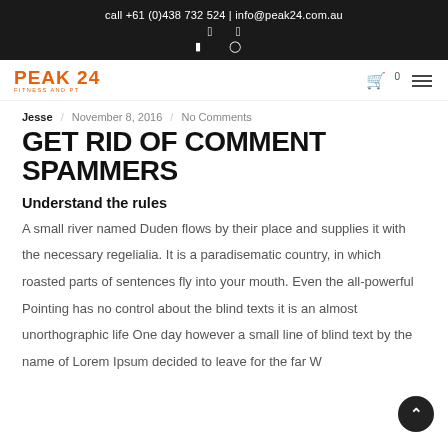call +61 (0)438 732 524 | info@peak24.com.au
[Figure (logo): PEAK 24 FITNESS AND PT logo in orange]
Jesse / November 8, 2016 / No Comments
GET RID OF COMMENT SPAMMERS
Understand the rules
A small river named Duden flows by their place and supplies it with the necessary regelialia. It is a paradisematic country, in which roasted parts of sentences fly into your mouth. Even the all-powerful Pointing has no control about the blind texts it is an almost unorthographic life One day however a small line of blind text by the name of Lorem Ipsum decided to leave for the far W... of Grammar. The Big Oxmox advised her not to do so, because...